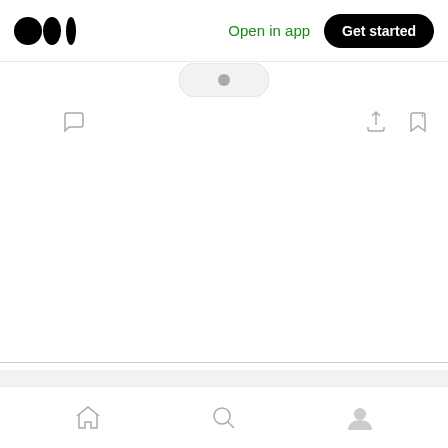[Figure (screenshot): Medium app top navigation bar with logo, Open in app link, and Get started button]
[Figure (screenshot): Article toolbar with clap, comment, share, and bookmark icons]
More from Alibaba Cloud
Follow me to keep abreast with the latest technology news, industry insights, and developer trends. Alibaba Cloud website:https://www.alibabacloud.com
Nov 24, 2020
[Figure (screenshot): Bottom navigation bar with home, search, and profile icons]